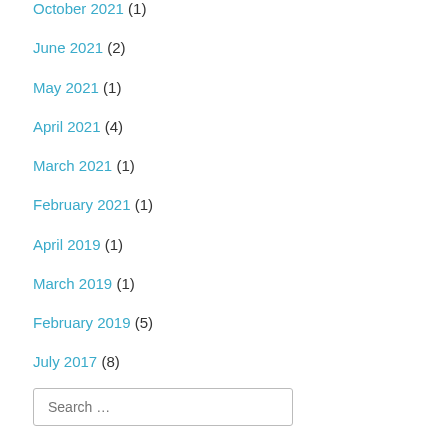October 2021 (1)
June 2021 (2)
May 2021 (1)
April 2021 (4)
March 2021 (1)
February 2021 (1)
April 2019 (1)
March 2019 (1)
February 2019 (5)
July 2017 (8)
June 2017 (7)